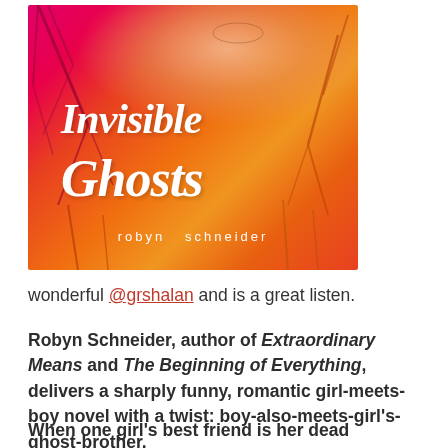[Figure (illustration): Book cover for 'Invisible Ghosts' by Robyn Schneider. Pink, red, and orange gradient background with a girl's face partially visible at the top. Tree branches silhouetted on the sides. Large white hand-lettered title 'INVISIBLE GHOSTS' in the center. Author name 'robyn schneider' in small white text at the bottom.]
wonderful @grshalan and is a great listen.
Robyn Schneider, author of Extraordinary Means and The Beginning of Everything, delivers a sharply funny, romantic girl-meets-boy novel with a twist: boy-also-meets-girl's-ghost-brother.
When one girl's best friend is her dead brother's